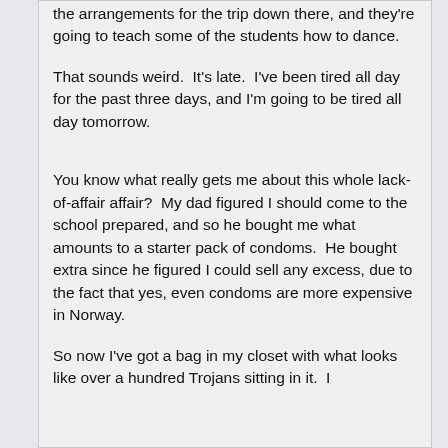the arrangements for the trip down there, and they're going to teach some of the students how to dance.
That sounds weird.  It's late.  I've been tired all day for the past three days, and I'm going to be tired all day tomorrow.
You know what really gets me about this whole lack-of-affair affair?  My dad figured I should come to the school prepared, and so he bought me what amounts to a starter pack of condoms.  He bought extra since he figured I could sell any excess, due to the fact that yes, even condoms are more expensive in Norway.
So now I've got a bag in my closet with what looks like over a hundred Trojans sitting in it.  I